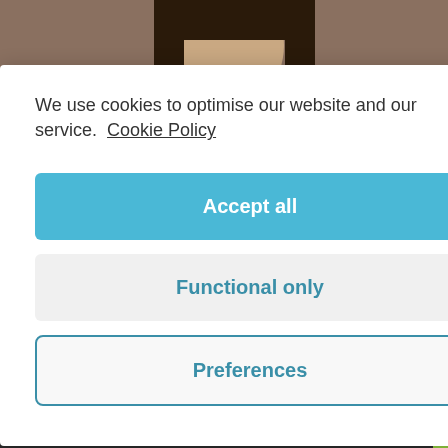[Figure (photo): Partial photo of a person with dark hair visible at the top of the page]
We use cookies to optimise our website and our service. Cookie Policy
Accept all
Functional only
Preferences
11.90    5.90
*Results may vary from person to person